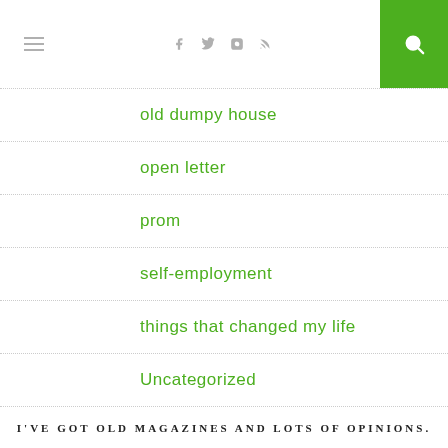≡  f  🐦  📷  ⊃  🔍
old dumpy house
open letter
prom
self-employment
things that changed my life
Uncategorized
wedding crap
writing an' stuff
I'VE GOT OLD MAGAZINES AND LOTS OF OPINIONS.